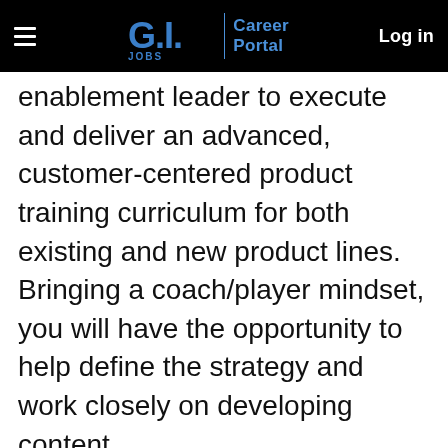G.I. Jobs | Career Portal  Log in
enablement leader to execute and deliver an advanced, customer-centered product training curriculum for both existing and new product lines. Bringing a coach/player mindset, you will have the opportunity to help define the strategy and work closely on developing content.
Responsibilities:
Create best-in-class courses, programs and content that help our internal teams grow into more effective customer champions by being equipped with in-depth product knowledge.
Be an expert in our products, competitive trends, market